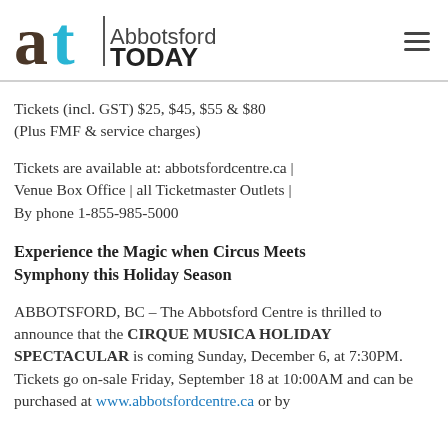Abbotsford TODAY
Tickets (incl. GST) $25, $45, $55 & $80 (Plus FMF & service charges)
Tickets are available at: abbotsfordcentre.ca | Venue Box Office | all Ticketmaster Outlets | By phone 1-855-985-5000
Experience the Magic when Circus Meets Symphony this Holiday Season
ABBOTSFORD, BC – The Abbotsford Centre is thrilled to announce that the CIRQUE MUSICA HOLIDAY SPECTACULAR is coming Sunday, December 6, at 7:30PM. Tickets go on-sale Friday, September 18 at 10:00AM and can be purchased at www.abbotsfordcentre.ca or by